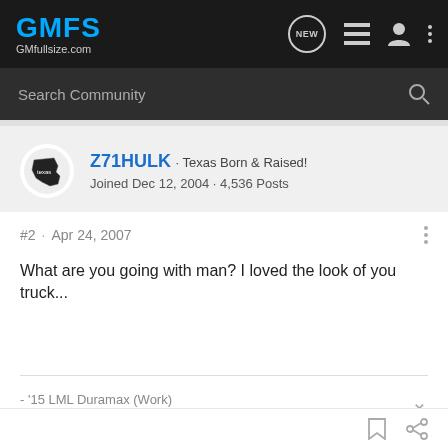GMFS GMfullsize.com
Search Community
Z71HULK · Texas Born & Raised!
Joined Dec 12, 2004 · 4,536 Posts
#2 · Apr 24, 2007
What are you going with man? I loved the look of you truck...
- '15 LML Duramax (Work)
- '07 LBZ Duramax (Play)